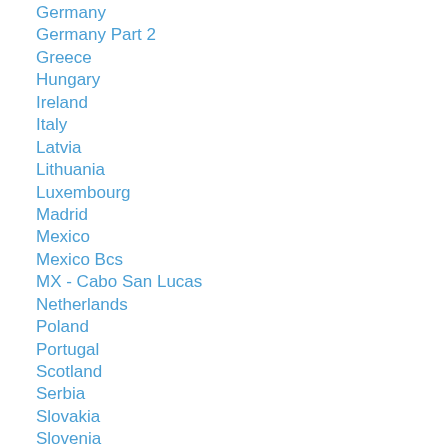Germany
Germany Part 2
Greece
Hungary
Ireland
Italy
Latvia
Lithuania
Luxembourg
Madrid
Mexico
Mexico Bcs
MX - Cabo San Lucas
Netherlands
Poland
Portugal
Scotland
Serbia
Slovakia
Slovenia
Spain